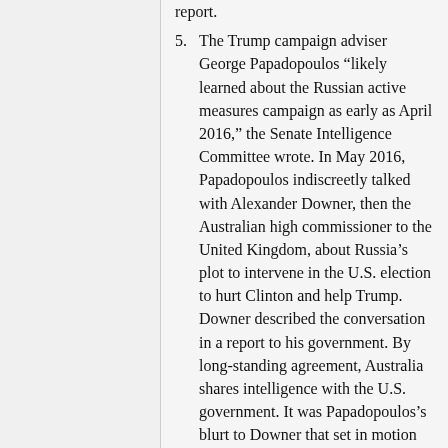report.
5. The Trump campaign adviser George Papadopoulos “likely learned about the Russian active measures campaign as early as April 2016,” the Senate Intelligence Committee wrote. In May 2016, Papadopoulos indiscreetly talked with Alexander Downer, then the Australian high commissioner to the United Kingdom, about Russia’s plot to intervene in the U.S. election to hurt Clinton and help Trump. Downer described the conversation in a report to his government. By long-standing agreement, Australia shares intelligence with the U.S. government. It was Papadopoulos’s blurt to Downer that set in motion the FBI investigation of Russia's interference in the 2016 presidential election, a revelation authoritatively reported more than three years ago.
6. In June 2016, the Trump campaign received a request for a meeting from a